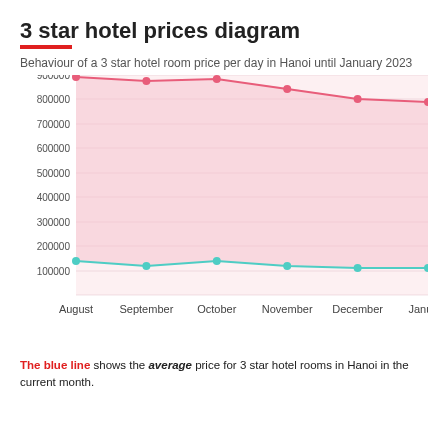3 star hotel prices diagram
Behaviour of a 3 star hotel room price per day in Hanoi until January 2023
[Figure (line-chart): 3 star hotel prices diagram]
The blue line shows the average price for 3 star hotel rooms in Hanoi in the current month.